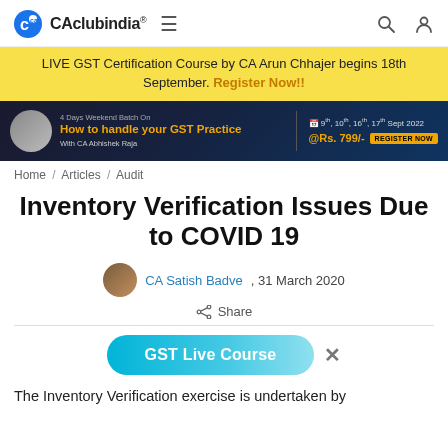[Figure (logo): CAclubindia logo with icon, hamburger menu, search and profile icons]
LIVE GST Certification Course by CA Arun Chhajer begins 18th September. Register Now!!
[Figure (infographic): Dark ad banner: 4 Days Weekend Batch On How to handle your GST Practice with CA Abhishek Raja. 9th, 10th, 16th, 17th Sept 2022 @Rs. 799/- REGISTER NOW]
Home / Articles / Audit
Inventory Verification Issues Due to COVID 19
CA Satish Badve , 31 March 2020
Share
[Figure (infographic): GST Live Course button with close X]
The Inventory Verification exercise is undertaken by